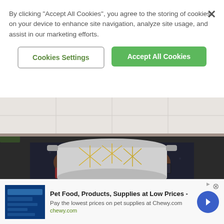By clicking “Accept All Cookies”, you agree to the storing of cookies on your device to enhance site navigation, analyze site usage, and assist in our marketing efforts.
Cookies Settings
Accept All Cookies
[Figure (photo): Person holding a pot filled with sliced lemons in liquid, wearing a dark patterned top and bracelet, kitchen background with plant visible]
Randy Jackson: "This Drink Is Like A Powerwash For Your Gut"
Unify Health Labs
[Figure (screenshot): Advertisement banner for Chewy.com: Pet Food, Products, Supplies at Low Prices - Pay the lowest prices on pet supplies at Chewy.com]